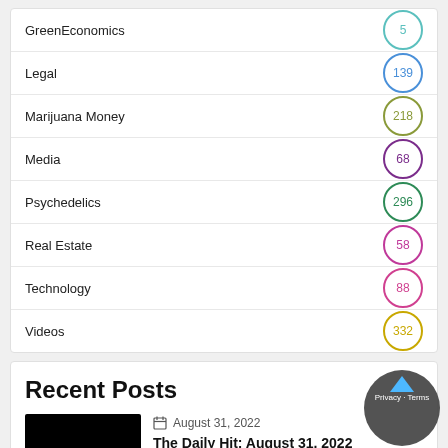GreenEconomics 5
Legal 139
Marijuana Money 218
Media 68
Psychedelics 296
Real Estate 58
Technology 88
Videos 332
Recent Posts
August 31, 2022
The Daily Hit: August 31, 2022